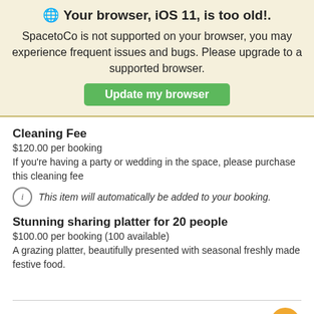🌐 Your browser, iOS 11, is too old!. SpacetoCo is not supported on your browser, you may experience frequent issues and bugs. Please upgrade to a supported browser. [Update my browser]
Cleaning Fee
$120.00 per booking
If you're having a party or wedding in the space, please purchase this cleaning fee
This item will automatically be added to your booking.
Stunning sharing platter for 20 people
$100.00 per booking (100 available)
A grazing platter, beautifully presented with seasonal freshly made festive food.
Amenities